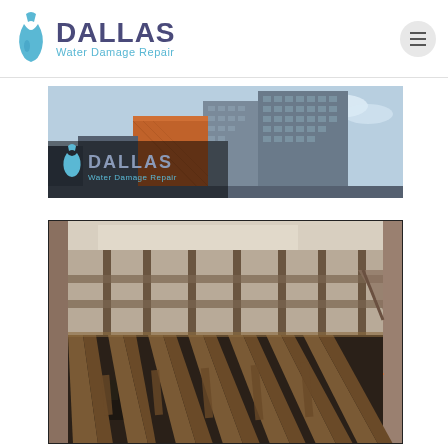[Figure (logo): Dallas Water Damage Repair logo with wrench/water drop icon, company name in dark blue and subtitle in light blue]
[Figure (photo): Dallas cityscape banner image showing tall office buildings from street level with Dallas Water Damage Repair logo overlay]
[Figure (photo): Interior photo showing exposed wooden floor joists/subfloor framing in a room under water damage repair, with construction equipment visible]